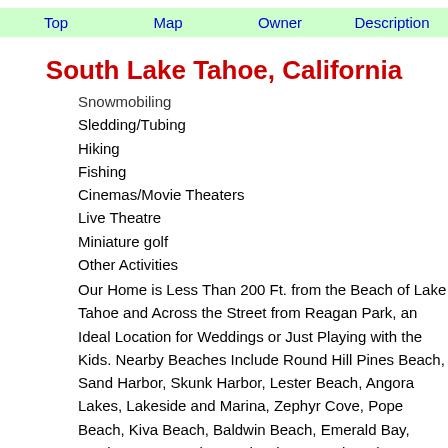Top  Map  Owner  Description
South Lake Tahoe, California
Snowmobiling
Sledding/Tubing
Hiking
Fishing
Cinemas/Movie Theaters
Live Theatre
Miniature golf
Other Activities
Our Home is Less Than 200 Ft. from the Beach of Lake Tahoe and Across the Street from Reagan Park, an Ideal Location for Weddings or Just Playing with the Kids. Nearby Beaches Include Round Hill Pines Beach, Sand Harbor, Skunk Harbor, Lester Beach, Angora Lakes, Lakeside Beach and Marina, Zephyr Cove, Pope Beach, Kiva Beach, Baldwin Beach, Emerald Bay, Meeks Bay, Nevada Beach, Kings Beach and Sugar Pine Point. For the Winter Visitors, the Home is Located Just 5 Minutes from Heavenly Ski Resort, One of Lake Tahoe'S Largest Ski Areas. Other Nearby Ski Areas Include Kirkwood, Alpine Meadows, Squaw Valley, Homewood Mountain, Northstar, Mammoth, Mt. Rose, Boreal Sierra, and Diamond Peak. the Town Has Plenty of Eateries that Are Easily Accessible by Foot or Bike. When You're Not Out Exploring the Great Outdoors, Test Your Luck at One of the Nearby Casinos: Montbleu, Harrah's, Harveys, Horizon, and the Lakeside Inn.